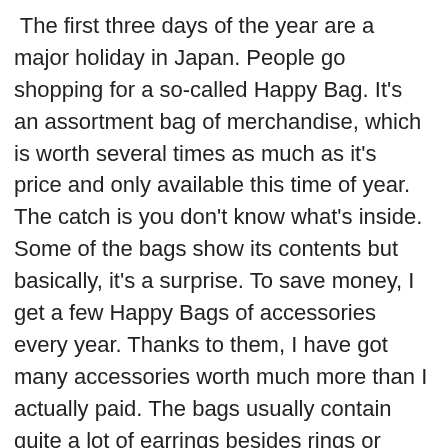The first three days of the year are a major holiday in Japan. People go shopping for a so-called Happy Bag. It's an assortment bag of merchandise, which is worth several times as much as it's price and only available this time of year. The catch is you don't know what's inside. Some of the bags show its contents but basically, it's a surprise. To save money, I get a few Happy Bags of accessories every year. Thanks to them, I have got many accessories worth much more than I actually paid. The bags usually contain quite a lot of earrings besides rings or necklaces, but I don't have my ears pierced. I have numerous earrings I can't even wear…
The holiday season is coming to an end. People are stowing away the New Year's decorations, TV stations are airing the usual programming, everything is back to normal